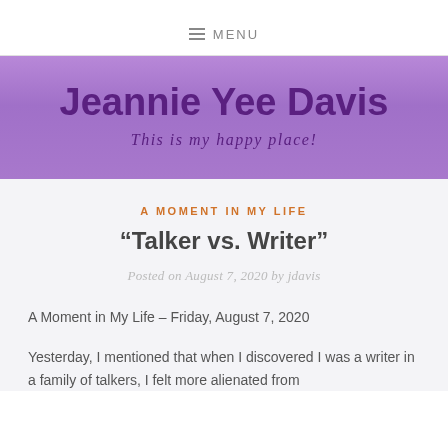≡ MENU
Jeannie Yee Davis
This is my happy place!
A MOMENT IN MY LIFE
“Talker vs. Writer”
Posted on August 7, 2020 by jdavis
A Moment in My Life – Friday, August 7, 2020
Yesterday, I mentioned that when I discovered I was a writer in a family of talkers, I felt more alienated from